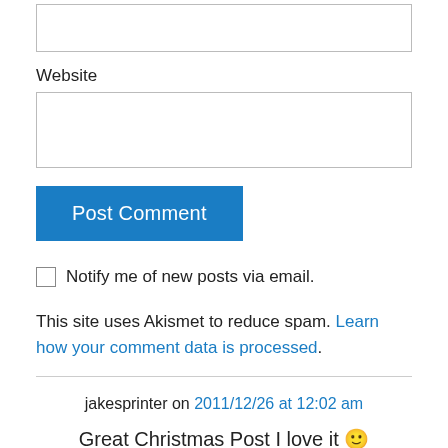[Figure (other): Empty text input box at top (partially visible)]
Website
[Figure (other): Empty website text input box]
[Figure (other): Blue 'Post Comment' button]
Notify me of new posts via email.
This site uses Akismet to reduce spam. Learn how your comment data is processed.
jakesprinter on 2011/12/26 at 12:02 am
Great Christmas Post I love it 🙂